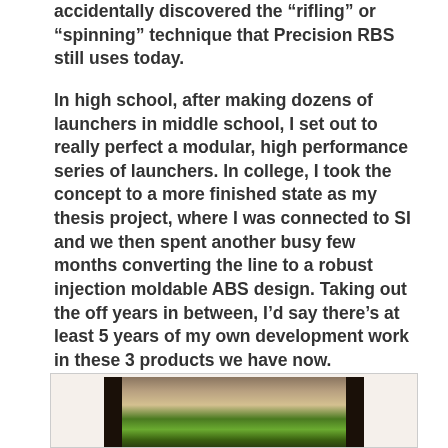accidentally discovered the “rifling” or “spinning” technique that Precision RBS still uses today.
In high school, after making dozens of launchers in middle school, I set out to really perfect a modular, high performance series of launchers. In college, I took the concept to a more finished state as my thesis project, where I was connected to SI and we then spent another busy few months converting the line to a robust injection moldable ABS design. Taking out the off years in between, I’d say there’s at least 5 years of my own development work in these 3 products we have now.
[Figure (photo): A photograph showing what appears to be a green and black product (launcher) on a brownish surface, partially cropped at the bottom of the page.]